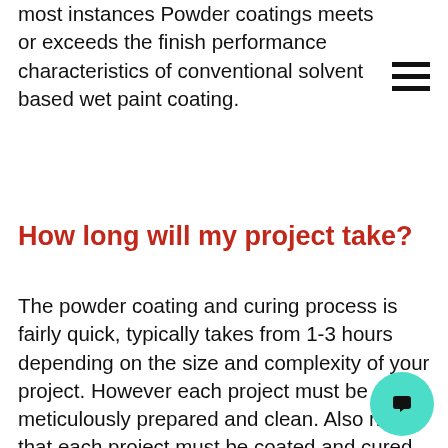most instances Powder coatings meets or exceeds the finish performance characteristics of conventional solvent based wet paint coating.
How long will my project take?
The powder coating and curing process is fairly quick, typically takes from 1-3 hours depending on the size and complexity of your project. However each project must be meticulously prepared and clean. Also note that each project must be coated and cured according the specification and separate from others, projects are staged based on order date and due date to maximize efficiency. Because of this dynamic we suggest planning...